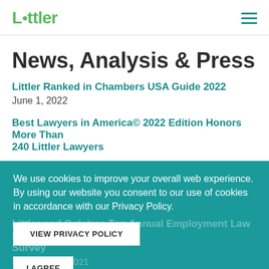Littler
News, Analysis & Press
Littler Ranked in Chambers USA Guide 2022
June 1, 2022
Best Lawyers in America© 2022 Edition Honors More Than 240 Littler Lawyers
Littler and Ogletree Top Annual Employment Law Firms Survey
We use cookies to improve your overall web experience. By using our website you consent to our use of cookies in accordance with our Privacy Policy.
VIEW PRIVACY POLICY
I AGREE